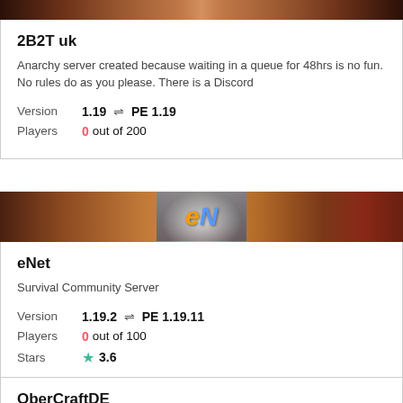[Figure (screenshot): Top banner image partial, dark/brown tones game screenshot]
2B2T uk
Anarchy server created because waiting in a queue for 48hrs is no fun. No rules do as you please. There is a Discord
Version   1.19 ⇌ PE 1.19
Players   0 out of 200
[Figure (screenshot): eNet server banner with orange and blue eN logo on brown/brick background]
eNet
Survival Community Server
Version   1.19.2 ⇌ PE 1.19.11
Players   0 out of 100
Stars   3.6
OberCraftDE